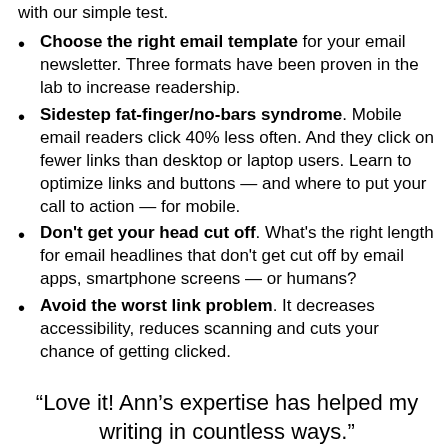with our simple test.
Choose the right email template for your email newsletter. Three formats have been proven in the lab to increase readership.
Sidestep fat-finger/no-bars syndrome. Mobile email readers click 40% less often. And they click on fewer links than desktop or laptop users. Learn to optimize links and buttons — and where to put your call to action — for mobile.
Don't get your head cut off. What's the right length for email headlines that don't get cut off by email apps, smartphone screens — or humans?
Avoid the worst link problem. It decreases accessibility, reduces scanning and cuts your chance of getting clicked.
“Love it! Ann’s expertise has helped my writing in countless ways.”